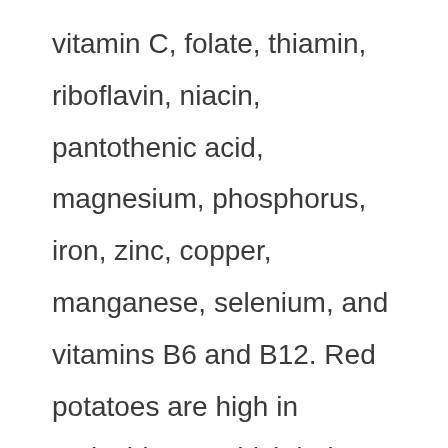vitamin C, folate, thiamin, riboflavin, niacin, pantothenic acid, magnesium, phosphorus, iron, zinc, copper, manganese, selenium, and vitamins B6 and B12. Red potatoes are high in antioxidants, which help prevent cancer and heart disease. In addition, they are lower in calories than other